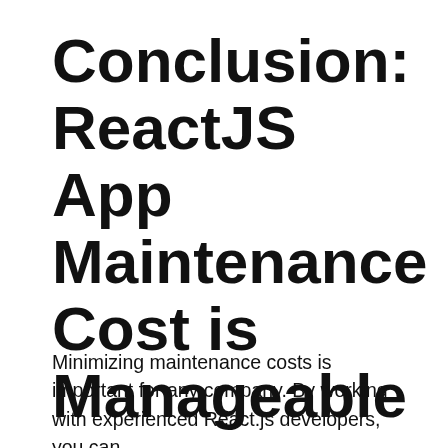Conclusion: ReactJS App Maintenance Cost is Manageable
Minimizing maintenance costs is important for any company. By working with experienced React.js developers, you can